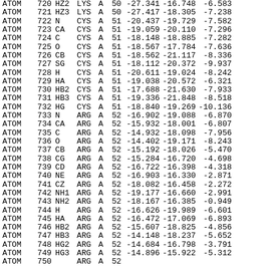| type | serial | name | res | chain | seqnum | x | y | z |
| --- | --- | --- | --- | --- | --- | --- | --- | --- |
| ATOM | 720 | HZ2 | LYS | A | 50 | -27.341 | -16.748 | -6.583 |
| ATOM | 721 | HZ3 | LYS | A | 50 | -27.417 | -18.305 | -7.238 |
| ATOM | 722 | N | CYS | A | 51 | -20.437 | -19.729 | -7.582 |
| ATOM | 723 | CA | CYS | A | 51 | -19.059 | -20.110 | -7.296 |
| ATOM | 724 | C | CYS | A | 51 | -18.148 | -18.885 | -7.282 |
| ATOM | 725 | O | CYS | A | 51 | -18.567 | -17.784 | -7.636 |
| ATOM | 726 | CB | CYS | A | 51 | -18.562 | -21.117 | -8.336 |
| ATOM | 727 | SG | CYS | A | 51 | -18.112 | -20.372 | -9.937 |
| ATOM | 728 | H | CYS | A | 51 | -20.611 | -19.024 | -8.242 |
| ATOM | 729 | HA | CYS | A | 51 | -19.038 | -20.572 | -6.321 |
| ATOM | 730 | HB2 | CYS | A | 51 | -17.688 | -21.630 | -7.933 |
| ATOM | 731 | HB3 | CYS | A | 51 | -19.336 | -21.848 | -8.518 |
| ATOM | 732 | HG | CYS | A | 51 | -18.840 | -19.269 | -10.136 |
| ATOM | 733 | N | ARG | A | 52 | -16.902 | -19.088 | -6.870 |
| ATOM | 734 | CA | ARG | A | 52 | -15.932 | -18.001 | -6.807 |
| ATOM | 735 | C | ARG | A | 52 | -14.932 | -18.098 | -7.956 |
| ATOM | 736 | O | ARG | A | 52 | -14.402 | -19.171 | -8.243 |
| ATOM | 737 | CB | ARG | A | 52 | -15.192 | -18.026 | -5.470 |
| ATOM | 738 | CG | ARG | A | 52 | -15.284 | -16.720 | -4.698 |
| ATOM | 739 | CD | ARG | A | 52 | -16.722 | -16.398 | -4.318 |
| ATOM | 740 | NE | ARG | A | 52 | -16.903 | -16.330 | -2.871 |
| ATOM | 741 | CZ | ARG | A | 52 | -18.082 | -16.458 | -2.272 |
| ATOM | 742 | NH1 | ARG | A | 52 | -19.177 | -16.660 | -2.991 |
| ATOM | 743 | NH2 | ARG | A | 52 | -18.167 | -16.385 | -0.949 |
| ATOM | 744 | H | ARG | A | 52 | -16.626 | -19.989 | -6.601 |
| ATOM | 745 | HA | ARG | A | 52 | -16.472 | -17.069 | -6.893 |
| ATOM | 746 | HB2 | ARG | A | 52 | -15.607 | -18.825 | -4.856 |
| ATOM | 747 | HB3 | ARG | A | 52 | -14.148 | -18.237 | -5.652 |
| ATOM | 748 | HG2 | ARG | A | 52 | -14.684 | -16.798 | -3.791 |
| ATOM | 749 | HG3 | ARG | A | 52 | -14.896 | -15.922 | -5.312 |